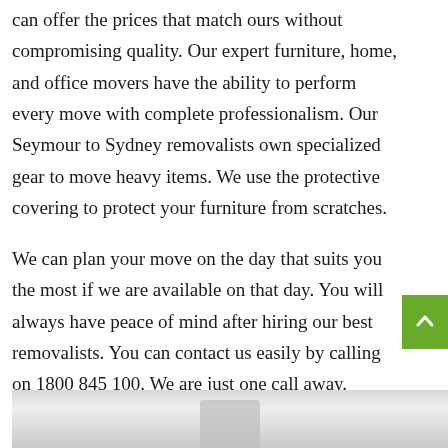can offer the prices that match ours without compromising quality. Our expert furniture, home, and office movers have the ability to perform every move with complete professionalism. Our Seymour to Sydney removalists own specialized gear to move heavy items. We use the protective covering to protect your furniture from scratches.
We can plan your move on the day that suits you the most if we are available on that day. You will always have peace of mind after hiring our best removalists. You can contact us easily by calling on 1800 845 100. We are just one call away.
[Figure (photo): Photo of a moving/removalist scene, partially visible at the bottom of the page, showing white fabric or protective covering.]